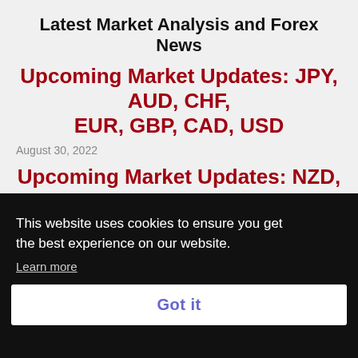Latest Market Analysis and Forex News
Upcoming Market Updates: JPY, AUD, CHF, EUR, GBP, CAD, USD
August 30, 2022
Upcoming Market Updates: NZD, JPY, EUR, USD
August 26, 2022
This website uses cookies to ensure you get the best experience on our website.
Learn more
Got it